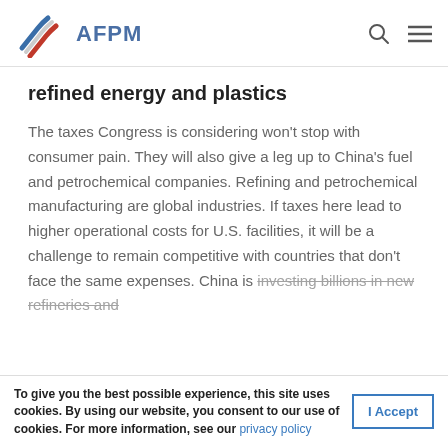AFPM
refined energy and plastics
The taxes Congress is considering won't stop with consumer pain. They will also give a leg up to China's fuel and petrochemical companies. Refining and petrochemical manufacturing are global industries. If taxes here lead to higher operational costs for U.S. facilities, it will be a challenge to remain competitive with countries that don't face the same expenses. China is investing billions in new refineries and
To give you the best possible experience, this site uses cookies. By using our website, you consent to our use of cookies. For more information, see our privacy policy